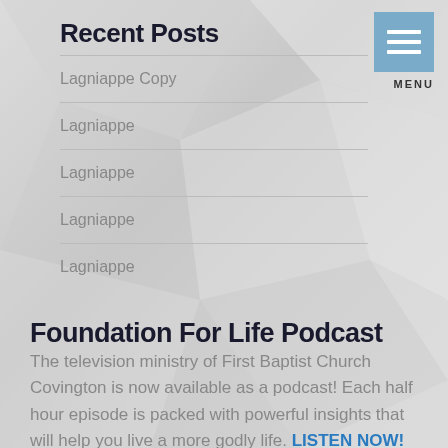Recent Posts
Lagniappe Copy
Lagniappe
Lagniappe
Lagniappe
Lagniappe
Foundation For Life Podcast
The television ministry of First Baptist Church Covington is now available as a podcast! Each half hour episode is packed with powerful insights that will help you live a more godly life. LISTEN NOW!